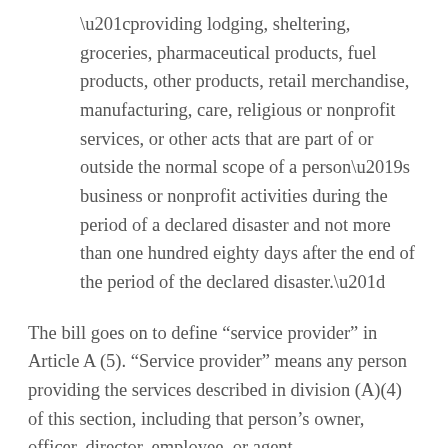“providing lodging, sheltering, groceries, pharmaceutical products, fuel products, other products, retail merchandise, manufacturing, care, religious or nonprofit services, or other acts that are part of or outside the normal scope of a person’s business or nonprofit activities during the period of a declared disaster and not more than one hundred eighty days after the end of the period of the declared disaster.”
The bill goes on to define “service provider” in Article A (5). “Service provider” means any person providing the services described in division (A)(4) of this section, including that person’s owner, officer, director, employee, or agent.
And all these persons are granted immunity except if it is established by clear and convincing evidence that the service provider’s act or omission is intentional, willful